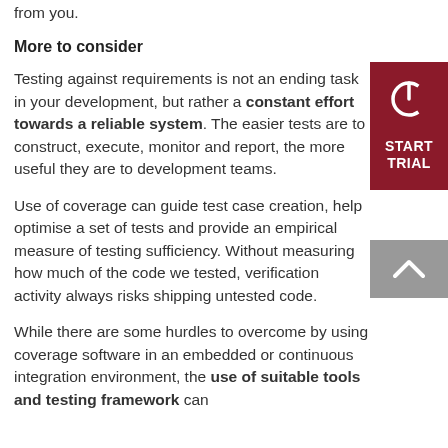from you.
More to consider
Testing against requirements is not an ending task in your development, but rather a constant effort towards a reliable system. The easier tests are to construct, execute, monitor and report, the more useful they are to development teams.
Use of coverage can guide test case creation, help optimise a set of tests and provide an empirical measure of testing sufficiency. Without measuring how much of the code we tested, verification activity always risks shipping untested code.
While there are some hurdles to overcome by using coverage software in an embedded or continuous integration environment, the use of suitable tools and testing framework can